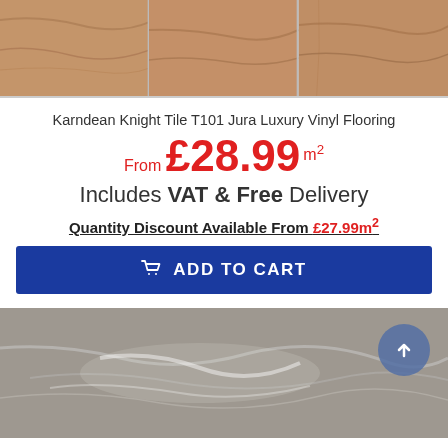[Figure (photo): Three brown wood-effect luxury vinyl flooring tiles shown side by side at the top of the page]
Karndean Knight Tile T101 Jura Luxury Vinyl Flooring
From £28.99 m²
Includes VAT & Free Delivery
Quantity Discount Available From £27.99m²
ADD TO CART
[Figure (photo): Grey marble-effect luxury vinyl flooring tile shown at the bottom of the page, with a blue circular scroll-up arrow button in the top right corner]